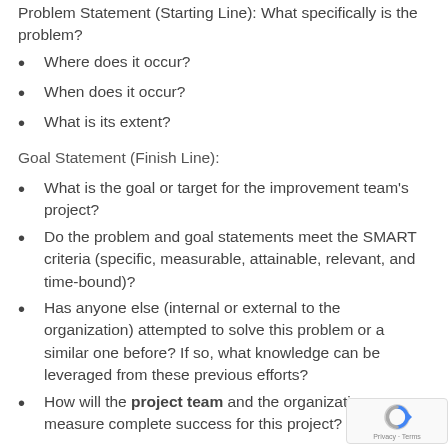Problem Statement (Starting Line): What specifically is the problem?
Where does it occur?
When does it occur?
What is its extent?
Goal Statement (Finish Line):
What is the goal or target for the improvement team’s project?
Do the problem and goal statements meet the SMART criteria (specific, measurable, attainable, relevant, and time-bound)?
Has anyone else (internal or external to the organization) attempted to solve this problem or a similar one before? If so, what knowledge can be leveraged from these previous efforts?
How will the project team and the organization measure complete success for this project?